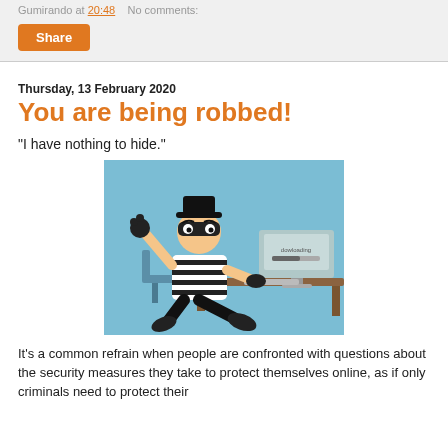Gumirando at 20:48   No comments:
Share
Thursday, 13 February 2020
You are being robbed!
"I have nothing to hide."
[Figure (illustration): Cartoon illustration of a burglar in a striped shirt and black mask sitting at a desk, using a computer that shows a downloading progress bar. The burglar is making an OK hand gesture.]
It's a common refrain when people are confronted with questions about the security measures they take to protect themselves online, as if only criminals need to protect their